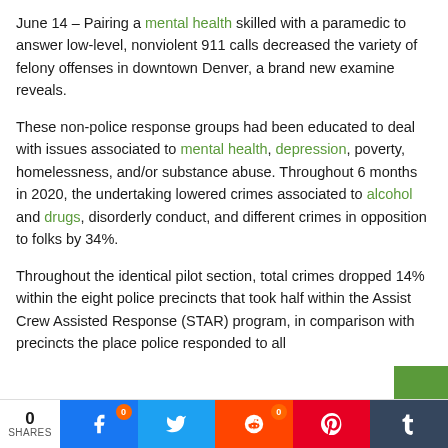June 14 – Pairing a mental health skilled with a paramedic to answer low-level, nonviolent 911 calls decreased the variety of felony offenses in downtown Denver, a brand new examine reveals.
These non-police response groups had been educated to deal with issues associated to mental health, depression, poverty, homelessness, and/or substance abuse. Throughout 6 months in 2020, the undertaking lowered crimes associated to alcohol and drugs, disorderly conduct, and different crimes in opposition to folks by 34%.
Throughout the identical pilot section, total crimes dropped 14% within the eight police precincts that took half within the Assist Crew Assisted Response (STAR) program, in comparison with precincts the place police responded to all
0 SHARES | Facebook | Twitter | Reddit | Pinterest | Tumblr